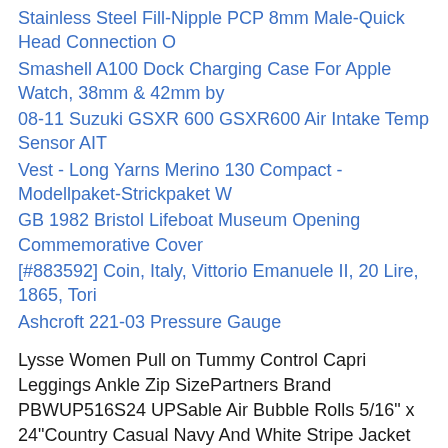Stainless Steel Fill-Nipple PCP 8mm Male-Quick Head Connection O
Smashell A100 Dock Charging Case For Apple Watch, 38mm & 42mm by
08-11 Suzuki GSXR 600 GSXR600 Air Intake Temp Sensor AIT
Vest - Long Yarns Merino 130 Compact - Modellpaket-Strickpaket W
GB 1982 Bristol Lifeboat Museum Opening Commemorative Cover
[#883592] Coin, Italy, Vittorio Emanuele II, 20 Lire, 1865, Tori
Ashcroft 221-03 Pressure Gauge
Lysse Women Pull on Tummy Control Capri Leggings Ankle Zip SizePartners Brand PBWUP516S24 UPSable Air Bubble Rolls 5/16" x 24"Country Casual Navy And White Stripe Jacket Size 12 Nearly NewSmall Fish Soap Mould - 8 Cavity - Pack of 5 (K19-5)Sac à Dos SALEWA Cammino 50 + 10 - MarineDSTF3080C - 80V 30A Ultralow Schottky DST _ITO-